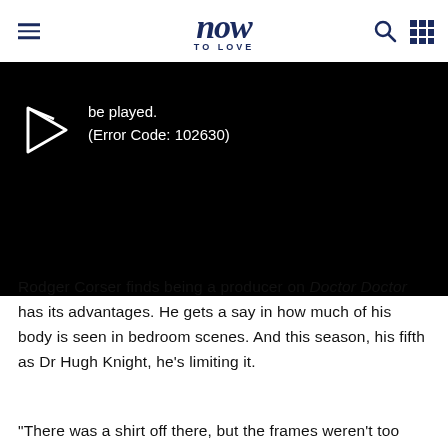now TO LOVE
[Figure (screenshot): Black video player showing error: 'be played. (Error Code: 102630)' with a play button icon on the left]
Rodger Corser finds being a producer on Doctor Doctor has its advantages. He gets a say in how much of his body is seen in bedroom scenes. And this season, his fifth as Dr Hugh Knight, he's limiting it.
"There was a shirt off there, but the frames weren't too